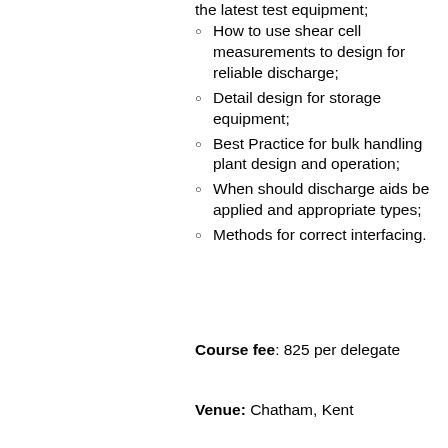the latest test equipment;
How to use shear cell measurements to design for reliable discharge;
Detail design for storage equipment;
Best Practice for bulk handling plant design and operation;
When should discharge aids be applied and appropriate types;
Methods for correct interfacing.
Course fee: 825 per delegate
Venue: Chatham, Kent